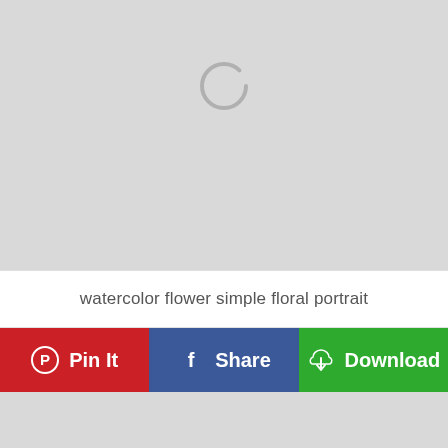[Figure (screenshot): Large gray image placeholder with a spinning loader icon (circle, partially transparent, gray) centered near the top]
watercolor flower simple floral portrait
[Figure (infographic): Action bar with three buttons: red Pin It button with Pinterest icon, blue Share button with Facebook icon, green Download button with download cloud icon]
[Figure (screenshot): Bottom gray image placeholder area, partially visible]